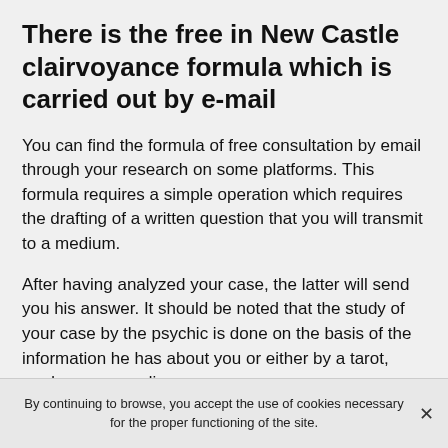There is the free in New Castle clairvoyance formula which is carried out by e-mail
You can find the formula of free consultation by email through your research on some platforms. This formula requires a simple operation which requires the drafting of a written question that you will transmit to a medium.
After having analyzed your case, the latter will send you his answer. It should be noted that the study of your case by the psychic is done on the basis of the information he has about you or either by a tarot, card or rune reading.
It is possible that you will get immediate answers. But these are very rare cases. Generally, many psychic agencies in New Castle as well as ours provide their
By continuing to browse, you accept the use of cookies necessary for the proper functioning of the site.